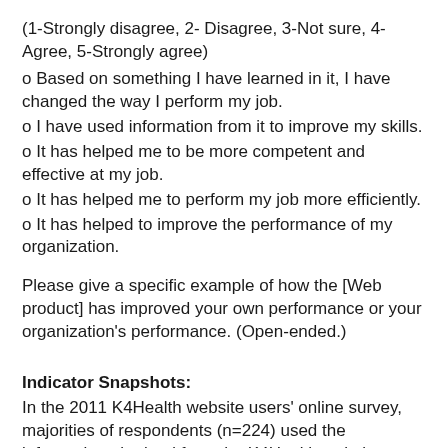(1-Strongly disagree, 2- Disagree, 3-Not sure, 4-Agree, 5-Strongly agree)
o Based on something I have learned in it, I have changed the way I perform my job.
o I have used information from it to improve my skills.
o It has helped me to be more competent and effective at my job.
o It has helped me to perform my job more efficiently.
o It has helped to improve the performance of my organization.
Please give a specific example of how the [Web product] has improved your own performance or your organization's performance. (Open-ended.)
Indicator Snapshots:
In the 2011 K4Health website users' online survey, majorities of respondents (n=224) used the information obtained from the K4Health website to improve their knowledge (72%) to share knowledge